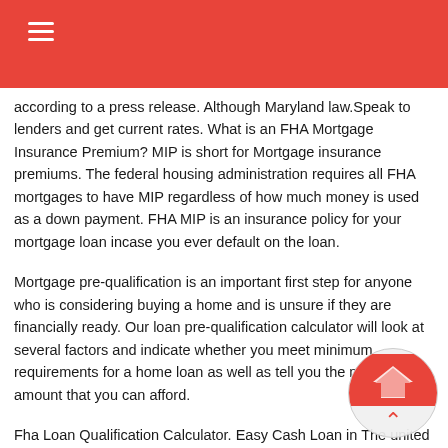☰
according to a press release. Although Maryland law.Speak to lenders and get current rates. What is an FHA Mortgage Insurance Premium? MIP is short for Mortgage insurance premiums. The federal housing administration requires all FHA mortgages to have MIP regardless of how much money is used as a down payment. FHA MIP is an insurance policy for your mortgage loan incase you ever default on the loan.
Mortgage pre-qualification is an important first step for anyone who is considering buying a home and is unsure if they are financially ready. Our loan pre-qualification calculator will look at several factors and indicate whether you meet minimum requirements for a home loan as well as tell you the maximum amount that you can afford.
Fha Loan Qualification Calculator. Easy Cash Loan in The united states No fax [Simple!] Car is a significant part of our lifestyle.